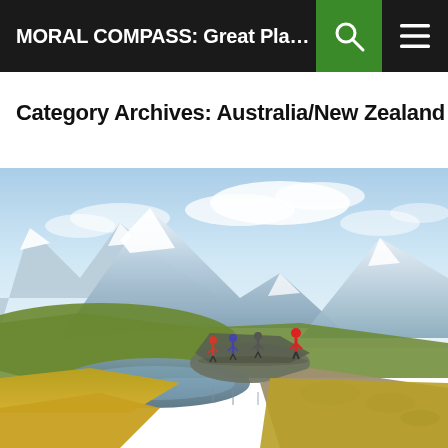MORAL COMPASS: Great Places to Go ...
Category Archives: Australia/New Zealand
[Figure (photo): Scenic alpine landscape with snow-capped mountains reflecting in a small alpine lake, with hikers standing on rocky terrain and golden grasslands in the foreground, likely New Zealand.]